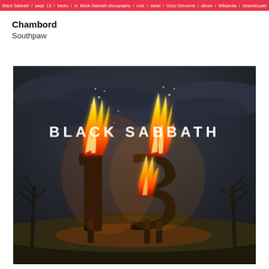Black Sabbath /page/ 13 / tracks / in / Black Sabbath discography / rock / metal / Ozzy Osbourne / album / Wikipedia
Chambord
Southpaw
[Figure (photo): Album cover of Black Sabbath '13' showing a giant burning '13' sculpture against a dark stormy sky, with the text 'BLACK SABBATH' displayed at the top of the image.]